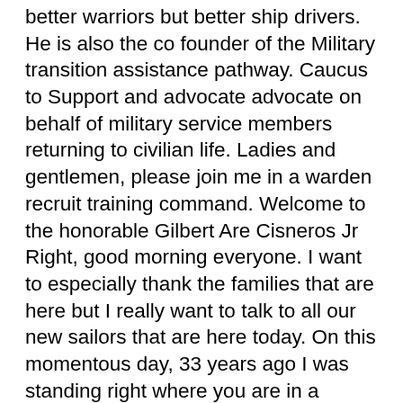better warriors but better ship drivers. He is also the co founder of the Military transition assistance pathway. Caucus to Support and advocate advocate on behalf of military service members returning to civilian life. Ladies and gentlemen, please join me in a warden recruit training command. Welcome to the honorable Gilbert Are Cisneros Jr Right, good morning everyone. I want to especially thank the families that are here but I really want to talk to all our new sailors that are here today. On this momentous day, 33 years ago I was standing right where you are in a different location. I actually did boot camp down angle which is no longer here. But what is going through my mind right now? I was nervous and excited and I'm sure you are filling those same emotions. Um but this is a momentous occasion for you when I look back on this, you are borrowing proposed all better trained, better prepared to join the fleet than I ever was when I joined camp all those years ago. So you should all be very proud of what you've accomplished and what you have achieved. Yeah. During these past 10 weeks,